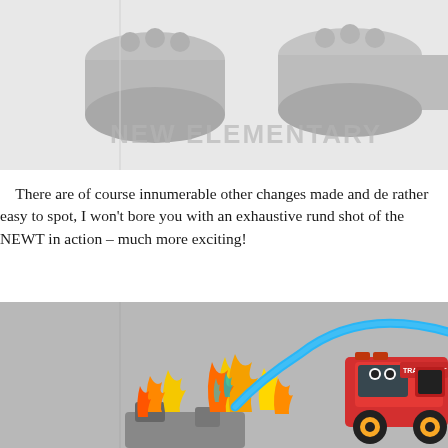[Figure (photo): Gray LEGO cylindrical/drum-shaped pieces on white background with 'NEW ELEMENTARY' watermark text]
There are of course innumerable other changes made and de- rather easy to spot, I won't bore you with an exhaustive rund- shot of the NEWT in action – much more exciting!
[Figure (photo): LEGO scene showing a colorful fire-themed creature/monster made of flames on the left, and a red LEGO fire truck labeled 'TRANSPORT' on the right, connected by a curved blue hose/tube, set against a gray background]